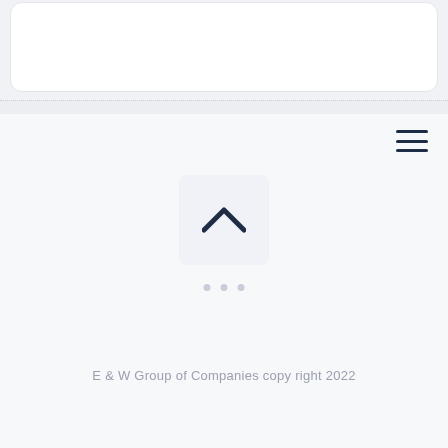[Figure (screenshot): Top white card with rounded corners on light gray background]
[Figure (infographic): Hamburger menu icon (three horizontal lines) in dark navy color, positioned top right]
[Figure (infographic): Chevron up arrow icon inside a light gray rounded square box, centered]
[Figure (infographic): Three small gray dots in a row, representing pagination or carousel indicators]
E & W Group of Companies copy right 2022